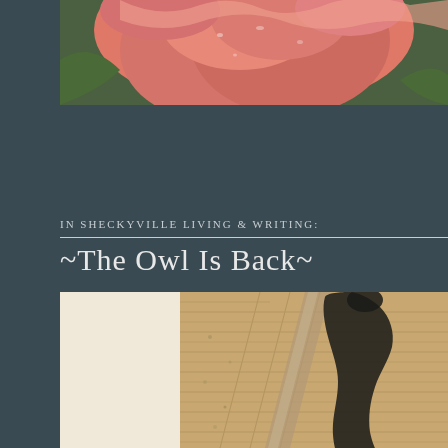[Figure (photo): Close-up photograph of a pink/salmon-colored flower (rose or similar) with soft petals, green leaves visible in background]
IN SHECKYVILLE LIVING & WRITING:
~The Owl Is Back~
[Figure (photo): Sepia-toned photograph showing a shadow of a person standing on a cobblestone or brick-paved surface, viewed from above at an angle]